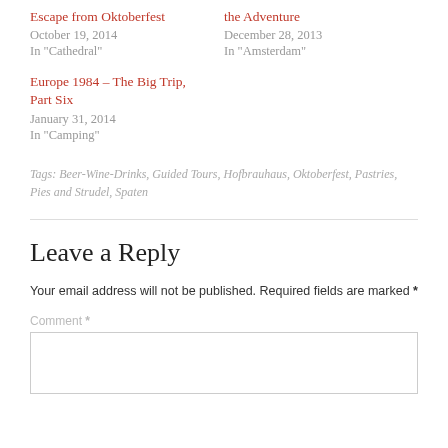Escape from Oktoberfest
October 19, 2014
In "Cathedral"
the Adventure
December 28, 2013
In "Amsterdam"
Europe 1984 – The Big Trip, Part Six
January 31, 2014
In "Camping"
Tags: Beer-Wine-Drinks, Guided Tours, Hofbrauhaus, Oktoberfest, Pastries, Pies and Strudel, Spaten
Leave a Reply
Your email address will not be published. Required fields are marked *
Comment *